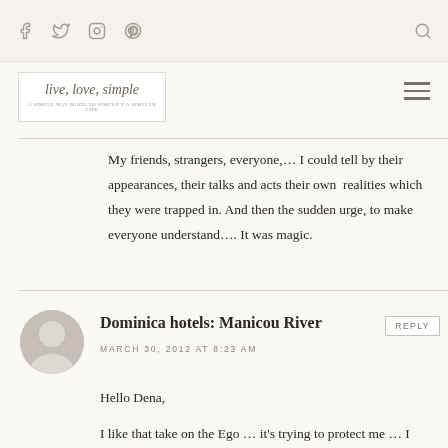live, love, simple — navigation bar with social icons and search
[Figure (logo): live, love, simple blog logo in cursive script with tagline]
My friends, strangers, everyone,… I could tell by their appearances, their talks and acts their own  realities which they were trapped in. And then the sudden urge, to make everyone understand…. It was magic.
Dominica hotels: Manicou River
MARCH 30, 2012 AT 8:23 AM
Hello Dena,
I like that take on the Ego … it's trying to protect me … I